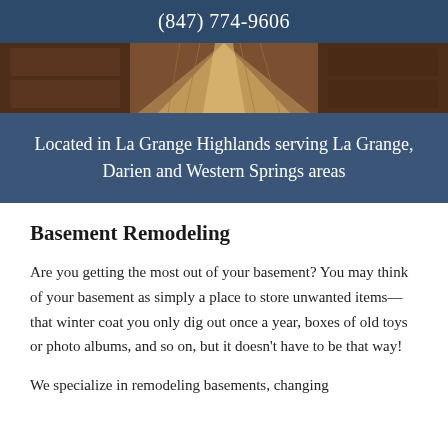(847) 774-9606
[Figure (photo): Interior kitchen/hallway photo showing wooden cabinetry and hardwood floor perspective]
Located in La Grange Highlands serving La Grange, Darien and Western Springs areas
Basement Remodeling
Are you getting the most out of your basement? You may think of your basement as simply a place to store unwanted items—that winter coat you only dig out once a year, boxes of old toys or photo albums, and so on, but it doesn't have to be that way!
We specialize in remodeling basements, changing